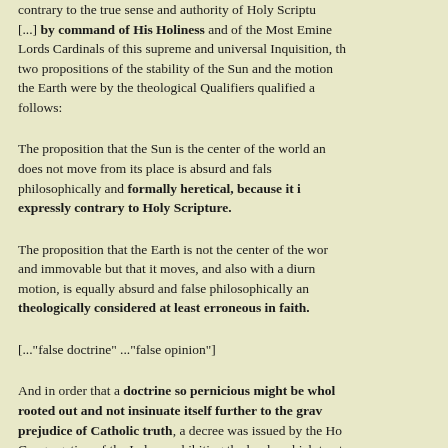contrary to the true sense and authority of Holy Scripture. [...] by command of His Holiness and of the Most Eminent Lords Cardinals of this supreme and universal Inquisition, the two propositions of the stability of the Sun and the motion of the Earth were by the theological Qualifiers qualified as follows:
The proposition that the Sun is the center of the world and does not move from its place is absurd and false philosophically and formally heretical, because it is expressly contrary to Holy Scripture.
The proposition that the Earth is not the center of the world and immovable but that it moves, and also with a diurnal motion, is equally absurd and false philosophically and theologically considered at least erroneous in faith.
[..."false doctrine" ..."false opinion"]
And in order that a doctrine so pernicious might be wholly rooted out and not insinuate itself further to the grave prejudice of Catholic truth, a decree was issued by the Holy Congregation of the Index prohibiting the books which treat of this doctrine and declaring the doctrine itself to be false